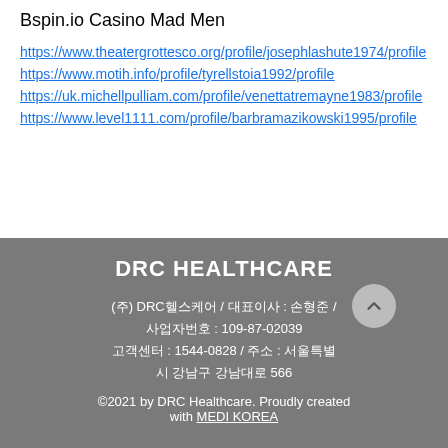Bspin.io Casino Mad Men
https://www.theatergrottesco.org/profile/josephlashute1974/profile
https://www.motih.info/profile/tyrellstoia1992/profile
https://uk.michellpulliam.com/profile/venettatremayne1983/profile
https://www.level1111.com/profile/barbramazikowski1995/profile
DRC HEALTHCARE
(주) DRC헬스케어 / 대표이사 : 손형준 / 사업자번호 : 109-87-02039
고객센터 : 1544-0828 / 주소 : 서울특별시 강남구 강남대로 566
©2021 by DRC Healthcare. Proudly created with MEDI KOREA